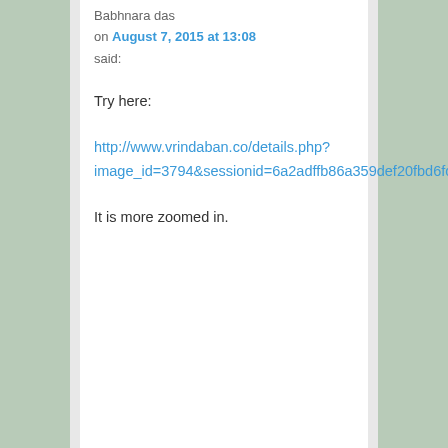Babhnara das
on August 7, 2015 at 13:08 said:
Try here:

http://www.vrindaban.co/details.php?image_id=3794&sessionid=6a2adffb86a359def20fbd6fc6337f32

It is more zoomed in.
Syamananda dasa
on August 7, 2015 at 15:17 said:
This seems to fit in the preaching tactic section, because the